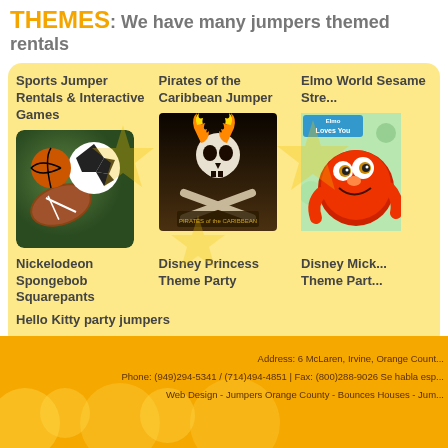THEMES: We have many jumpers themed rentals
[Figure (illustration): Yellow rounded box with themed jumper rental categories including sports balls image and Pirates of the Caribbean image and Elmo/Sesame Street image]
Sports Jumper Rentals & Interactive Games
Pirates of the Caribbean Jumper
Elmo World Sesame Street
Nickelodeon Spongebob Squarepants
Disney Princess Theme Party
Disney Mickey Theme Party
Hello Kitty party jumpers
Address: 6 McLaren, Irvine, Orange County Phone: (949)294-5341 / (714)494-4851 | Fax: (800)288-9026 Se habla esp Web Design - Jumpers Orange County - Bounces Houses - Jum